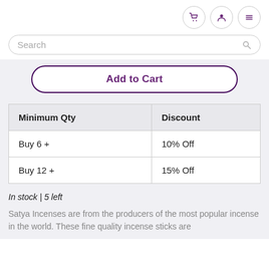[cart icon] [user icon] [menu icon]
Search
Add to Cart
| Minimum Qty | Discount |
| --- | --- |
| Buy 6 + | 10% Off |
| Buy 12 + | 15% Off |
In stock | 5 left
Satya Incenses are from the producers of the most popular incense in the world. These fine quality incense sticks are